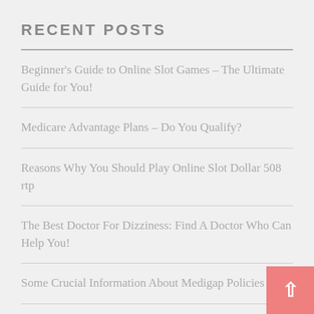RECENT POSTS
Beginner's Guide to Online Slot Games – The Ultimate Guide for You!
Medicare Advantage Plans – Do You Qualify?
Reasons Why You Should Play Online Slot Dollar 508 rtp
The Best Doctor For Dizziness: Find A Doctor Who Can Help You!
Some Crucial Information About Medigap Policies